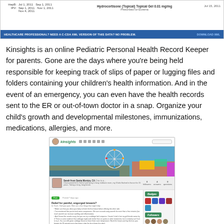[Figure (screenshot): Screenshot of a Kinsights pediatric health record web application showing medication entries (HepB, IPV dates), a Hydrocortisone topical gel entry, and a blue bar with 'Healthcare Professional? Need a C-CDA XML version of this data? No problem!' and a 'Download XML' link.]
Kinsights is an online Pediatric Personal Health Record Keeper for parents. Gone are the days where you're being held responsible for keeping track of slips of paper or lugging files and folders containing your children's health information.  And in the event of an emergency, you can even have the health records sent to the ER or out-of-town doctor in a snap. Organize your child's growth and developmental milestones, immunizations, medications, allergies, and more.
[Figure (screenshot): Screenshot of the Kinsights web application interface showing the kinsights logo/navigation bar at top, a photo of Santa Monica Pier with Ferris wheel as cover photo, a user profile for 'Sarah from Santa Monica, CA', a Q&A post titled 'Relief for painful, engorged breasts?' with bullet-point answers, a Badges sidebar section with colored badge icons, and a Followers section with avatar photos.]